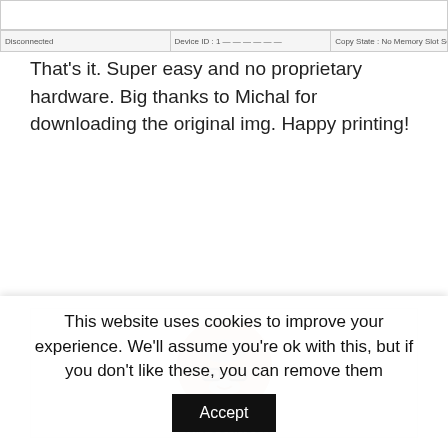[Figure (screenshot): Screenshot of a software UI showing a status bar with fields: Disconnected, Device ID: 1 ---------, Copy State: No Memory Slot Selected]
That's it. Super easy and no proprietary hardware. Big thanks to Michal for downloading the original img. Happy printing!
[Figure (photo): Circular profile photo of Karl Johnson, a man with glasses and gray beard]
Karl Johnson
This website uses cookies to improve your experience. We'll assume you're ok with this, but if you don't like these, you can remove them Accept